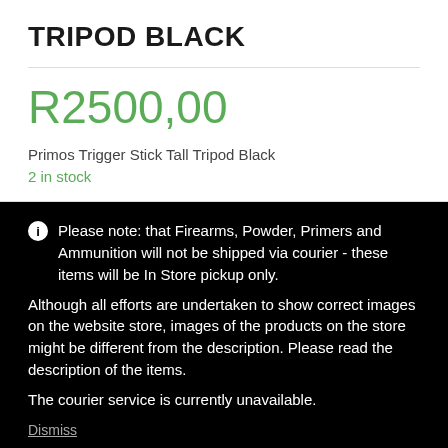TRIPOD BLACK
R2500,00
Primos Trigger Stick Tall Tripod Black
2 in stock
Please note: that Firearms, Powder, Primers and Ammunition will not be shipped via courier - these items will be In Store pickup only.
Although all efforts are undertaken to show correct images on the website store, images of the products on the store might be different from the description. Please read the description of the items.
The courier service is currently unavailable.
Dismiss